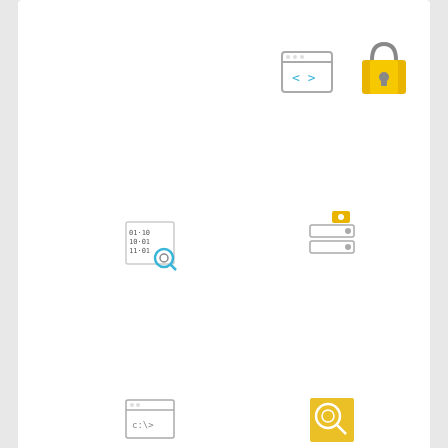[Figure (illustration): Grid of technology/programming icons arranged in 3 rows. Top partial row shows code browser icon and yellow lock icon. Second row shows: binary/magnify icon, server-settings icon, code brackets icon, cloud-network icon, broken monitor icon. Third row shows: terminal/window icon, magnify-search icon, drone/spider icon, binary code icon.]
Contributions
4.78 / 5
1 Challenge
ETHERNET - frame
創作 2013年5月20日
3 Solutions
Web TV
創作 2013年11月7日
Chiffrement par décalage
創作 2013年3月13日